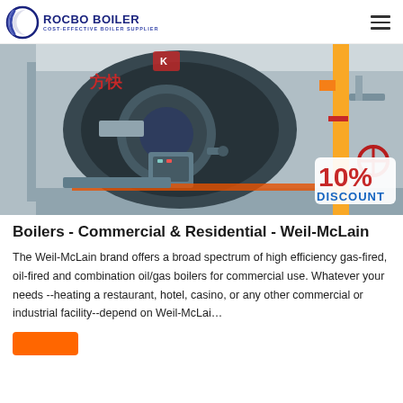ROCBO BOILER COST-EFFECTIVE BOILER SUPPLIER
[Figure (photo): Industrial boiler front view in a facility with Chinese text '方快' visible, yellow gas piping on the right, and a '10% DISCOUNT' badge overlay in the bottom right corner.]
Boilers - Commercial & Residential - Weil-McLain
The Weil-McLain brand offers a broad spectrum of high efficiency gas-fired, oil-fired and combination oil/gas boilers for commercial use. Whatever your needs --heating a restaurant, hotel, casino, or any other commercial or industrial facility--depend on Weil-McLai…